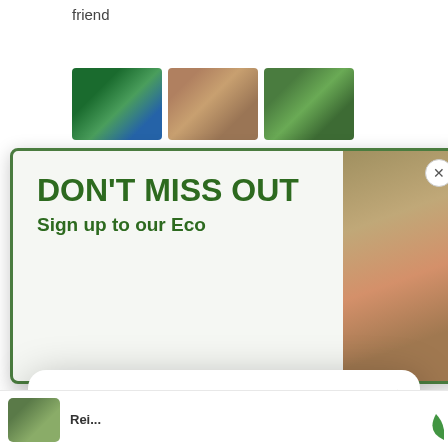friend
[Figure (photo): Three small thumbnail photos of garden/nature scenes]
[Figure (screenshot): Popup banner: DON'T MISS OUT - Sign up to our Eco, with a photo of produce in mesh bags on the right and a close button]
[Figure (screenshot): Modal popup with sparkle icon, text 'Unlock exclusive rewards and perks', 'Sign up or Log in', a green Sign up button, and 'Already have an account? Sign in' link]
[Figure (photo): Bottom thumbnail image of garden/plant scene with partial text]